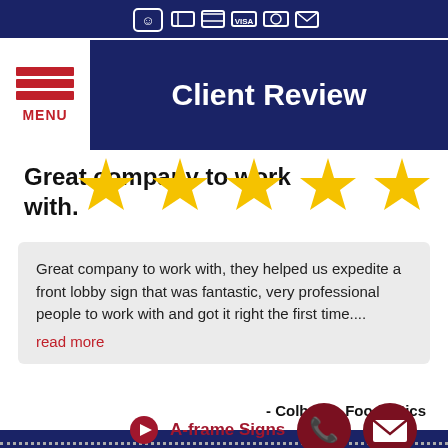Client Review
Great company to work with.
[Figure (infographic): Five gold star rating icons]
Great company to work with, they helped us expedite a front lobby sign that was fantastic, very professional people to work with and got it right the first time.... read more
- Colborne Foodbotics
Services
A-frame Signs